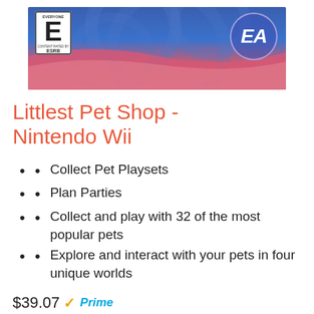[Figure (photo): Product image for Littlest Pet Shop Nintendo Wii game showing ESRB E rating badge on left and EA logo on right against a blue and pink gradient background]
Littlest Pet Shop - Nintendo Wii
Collect Pet Playsets
Plan Parties
Collect and play with 32 of the most popular pets
Explore and interact with your pets in four unique worlds
$39.07 Prime
[Figure (illustration): Add to Cart button (partially visible at bottom)]